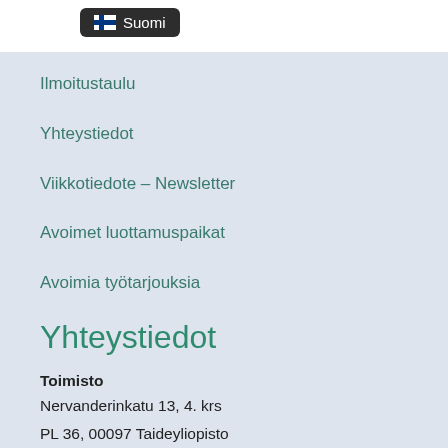[Figure (other): Finnish language selector button with Finnish flag icon and text 'Suomi' on dark background]
Ilmoitustaulu
Yhteystiedot
Viikkotiedote – Newsletter
Avoimet luottamuspaikat
Avoimia työtarjouksia
Yhteystiedot
Toimisto
Nervanderinkatu 13, 4. krs
PL 36, 00097 Taideyliopisto